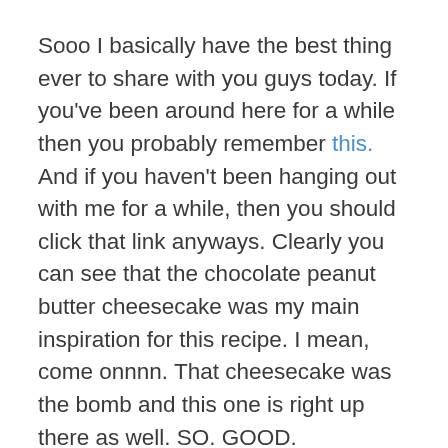Sooo I basically have the best thing ever to share with you guys today. If you've been around here for a while then you probably remember this. And if you haven't been hanging out with me for a while, then you should click that link anyways. Clearly you can see that the chocolate peanut butter cheesecake was my main inspiration for this recipe. I mean, come onnnn. That cheesecake was the bomb and this one is right up there as well. SO. GOOD.
I've been meaning to make this recipe for a while now but have kept putting it off because I am the ultimate procrastinator. I told my boyfriend about my idea though and he inspired me to actually get